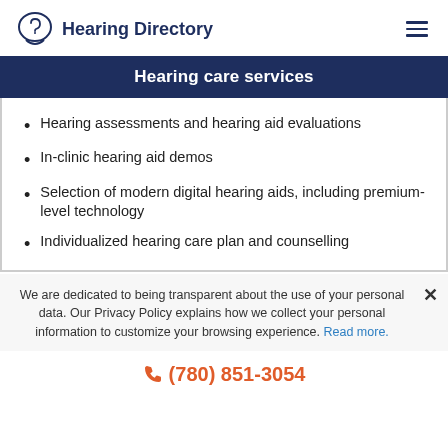Hearing Directory
Hearing care services
Hearing assessments and hearing aid evaluations
In-clinic hearing aid demos
Selection of modern digital hearing aids, including premium-level technology
Individualized hearing care plan and counselling
We are dedicated to being transparent about the use of your personal data. Our Privacy Policy explains how we collect your personal information to customize your browsing experience. Read more.
(780) 851-3054